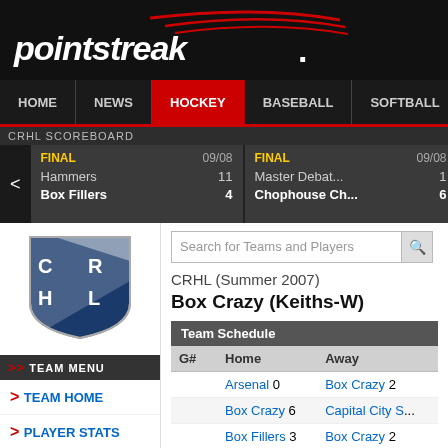[Figure (logo): Pointstreak logo with red swoosh on black background]
HOME | NEWS | HOCKEY | BASEBALL | SOFTBALL | BAS...
CRHL SCOREBOARD
FINAL 09/08 Hammers 11 Box Fillers 4
FINAL 09/08 Master Debat... 1 Chophouse Ch... 6
FINAL 09/08 CM Design Ic... 4 Nitro 5
FINAL The La... Arsenal...
[Figure (logo): CRHL shield logo with C R H L letters]
TEAM MENU
> TEAM HOME
> PLAYER STATS
> RECORDS
> SCHEDULE
CRHL (Summer 2007)
Box Crazy (Keiths-W)
Team Schedule
| G# | Home | Away |
| --- | --- | --- |
|  | Arsenal 0 | Box Crazy 2 |
|  | Box Crazy 6 | Capital City S... |
|  | Box Fillers 3 | Box Crazy 2 |